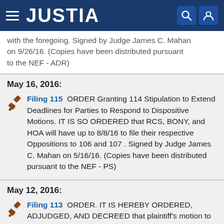JUSTIA
with the foregoing. Signed by Judge James C. Mahan on 9/26/16. (Copies have been distributed pursuant to the NEF - ADR)
May 16, 2016:
Filing 115  ORDER Granting 114 Stipulation to Extend Deadlines for Parties to Respond to Dispositive Motions. IT IS SO ORDERED that RCS, BONY, and HOA will have up to 8/8/16 to file their respective Oppositions to 106 and 107 . Signed by Judge James C. Mahan on 5/16/16. (Copies have been distributed pursuant to the NEF - PS)
May 12, 2016:
Filing 113  ORDER. IT IS HEREBY ORDERED, ADJUDGED, AND DECREED that plaintiff's motion to extend time 112 is GRANTED.IT IS FURTHER ORDERED that plaintiff shall have up to, and including, 5/31/16